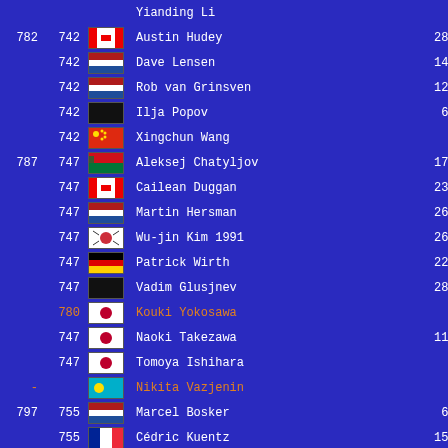| Rank1 | Rank2 | Flag | Name | Score |
| --- | --- | --- | --- | --- |
|  |  |  | Yianding Li (partial) |  |
| 782 | 742 | Canada | Austin Hudey | 28- 7 |
|  | 742 | Netherlands | Dave Lensen | 14-10 |
|  | 742 | Netherlands | Rob van Grinsven | 12-11 |
|  | 742 | Black | Ilja Popov | 6-12 |
|  | 742 | China | Xingchun Wang | - |
| 787 | 747 | Belarus | Aleksej Chatyljov | 17- 7 |
|  | 747 | Canada | Cailean Duggan | 23-12 |
|  | 747 | Netherlands | Martin Hersman | 26- 2 |
|  | 747 | South Korea | Wu-jin Kim 1991 | 26- 9 |
|  | 747 | Germany | Patrick Wirth | 22- 7 |
|  | 747 | Black | Vadim Glusjnev | 28- 8 |
|  | 780 (orange) | Japan | Kouki Yokosawa | - |
|  | 747 | Japan | Naoki Takezawa | 11-11 |
|  | 747 | Japan | Tomoya Ishihara | - |
| - | - | Kazakhstan | Nikita Vazjenin (orange) | - 9 |
| 797 | 755 | Netherlands | Marcel Bosker | 6- 4 |
|  | 755 | France | Cédric Kuentz | 15-11 |
|  | 755 | USA | David Needham | 14- 9 |
|  | 755 | China | (partial row) |  |